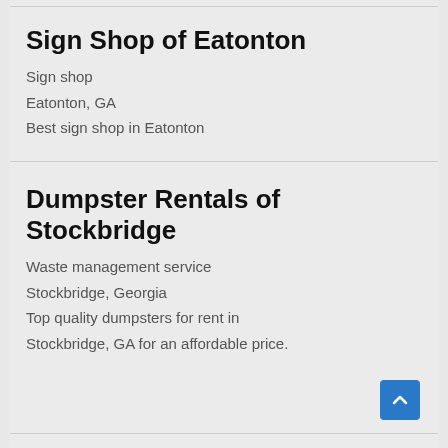Sign Shop of Eatonton
Sign shop
Eatonton, GA
Best sign shop in Eatonton
Dumpster Rentals of Stockbridge
Waste management service
Stockbridge, Georgia
Top quality dumpsters for rent in Stockbridge, GA for an affordable price.